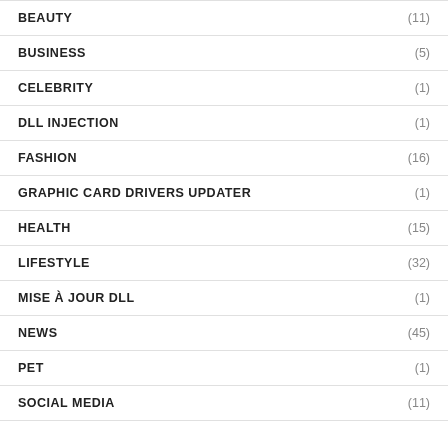BEAUTY (11)
BUSINESS (5)
CELEBRITY (1)
DLL INJECTION (1)
FASHION (16)
GRAPHIC CARD DRIVERS UPDATER (1)
HEALTH (15)
LIFESTYLE (32)
MISE À JOUR DLL (1)
NEWS (45)
PET (1)
SOCIAL MEDIA (11)